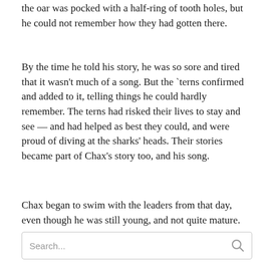the oar was pocked with a half-ring of tooth holes, but he could not remember how they had gotten there.
By the time he told his story, he was so sore and tired that it wasn't much of a song. But the `terns confirmed and added to it, telling things he could hardly remember. The terns had risked their lives to stay and see — and had helped as best they could, and were proud of diving at the sharks' heads. Their stories became part of Chax's story too, and his song.
Chax began to swim with the leaders from that day, even though he was still young, and not quite mature.